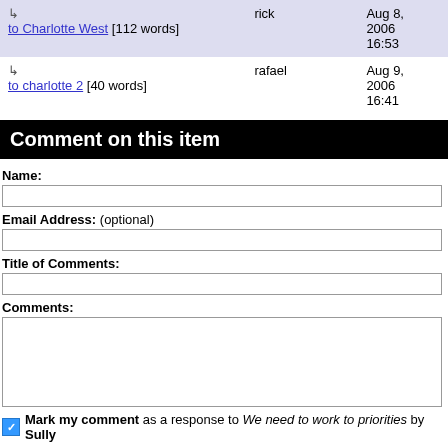| Reply | Author | Date |
| --- | --- | --- |
| ↳ to Charlotte West [112 words] | rick | Aug 8, 2006 16:53 |
| ↳ to charlotte 2 [40 words] | rafael | Aug 9, 2006 16:41 |
Comment on this item
Name:
Email Address: (optional)
Title of Comments:
Comments:
Mark my comment as a response to We need to work to priorities by Sully